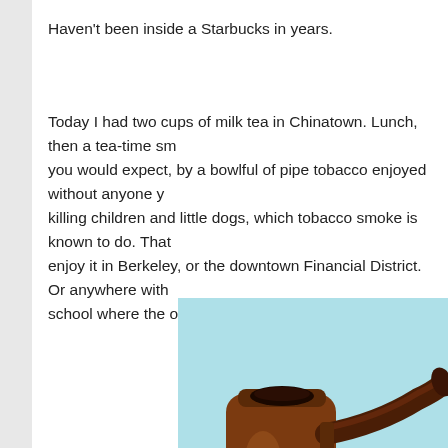Haven't been inside a Starbucks in years.
Today I had two cups of milk tea in Chinatown. Lunch, then a tea-time sn... you would expect, by a bowlful of pipe tobacco enjoyed without anyone y... killing children and little dogs, which tobacco smoke is known to do. That... enjoy it in Berkeley, or the downtown Financial District. Or anywhere with... school where the offspring of yuppies go.
[Figure (photo): A brown wooden tobacco pipe against a light blue/cyan background. The pipe has a curved stem and a square bowl.]
The pipe in the illustration above always reminds me of a bakery run by w... under telegraph Hill, accessible only by an interdimensional portal in an a... to a tunnel with soft lighting. At the end of which is the bakery in question... Which I first heard about six or seven years ago.